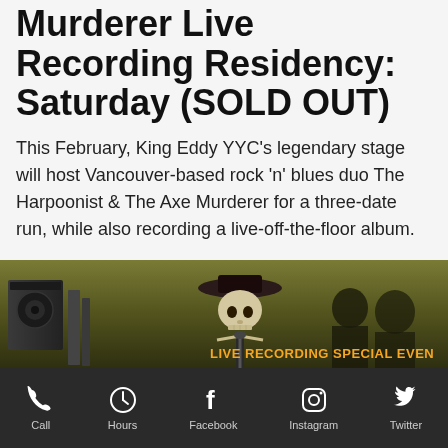Murderer Live Recording Residency: Saturday (SOLD OUT)
This February, King Eddy YYC’s legendary stage will host Vancouver-based rock ‘n’ blues duo The Harpoonist & The Axe Murderer for a three-date run, while also recording a live-off-the-floor album.
[Figure (photo): Promotional image for The Harpoonist & The Axe Murderer live recording event showing a skeleton figure wearing a wide-brimmed hat surrounded by speakers and microphones, with orange text overlay reading LIVE RECORDING SPECIAL EVENT]
Call  Hours  Facebook  Instagram  Twitter